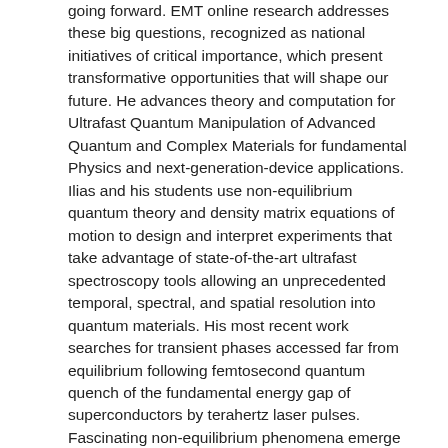going forward. EMT online research addresses these big questions, recognized as national initiatives of critical importance, which present transformative opportunities that will shape our future. He advances theory and computation for Ultrafast Quantum Manipulation of Advanced Quantum and Complex Materials for fundamental Physics and next-generation-device applications. Ilias and his students use non-equilibrium quantum theory and density matrix equations of motion to design and interpret experiments that take advantage of state-of-the-art ultrafast spectroscopy tools allowing an unprecedented temporal, spectral, and spatial resolution into quantum materials. His most recent work searches for transient phases accessed far from equilibrium following femtosecond quantum quench of the fundamental energy gap of superconductors by terahertz laser pulses. Fascinating non-equilibrium phenomena emerge in such complex systems from the collective behavior of electronic charge and spin and its interplay with the underlying crystal and non-adiabatic light-matter coupling.